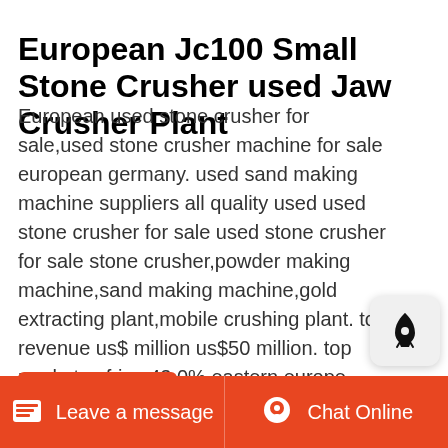European Jc100 Small Stone Crusher used Jaw Crusher Plant
European used stone crusher for sale,used stone crusher machine for sale european germany. used sand making machine suppliers all quality used used stone crusher for sale used stone crusher for sale stone crusher,powder making machine,sand making machine,gold extracting plant,mobile crushing plant. total revenue us$ million us$50 million. top markets africa 43.0% eastern europe
[Figure (screenshot): Orange 'Get Price' button]
[Figure (photo): Partial outdoor photo with sky and trees at bottom of page]
Leave a message   Chat Online